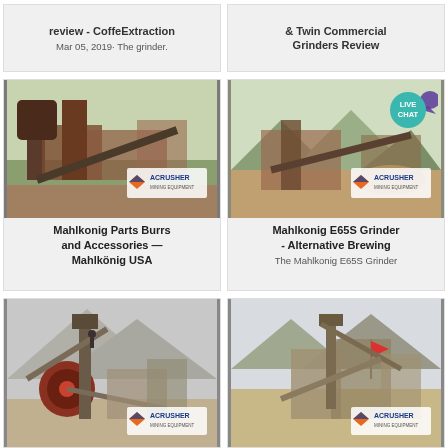review - CoffeExtraction
Mar 05, 2019· The grinder.
& Twin Commercial Grinders Review
[Figure (photo): Industrial mining crusher equipment with conveyor belts and structures, ACRUSHER Mining Equipment logo overlay]
Mahlkonig Parts Burrs and Accessories — Mahlkönig USA
[Figure (photo): Industrial mining site with conveyor systems and equipment, ACRUSHER Mining Equipment logo overlay, LIVE CHAT badge]
Mahlkonig E65S Grinder - Alternative Brewing
The Mahlkonig E65S Grinder
[Figure (photo): Industrial quarry crusher and conveyor belt equipment, ACRUSHER Mining Equipment logo overlay]
[Figure (photo): Industrial quarry and mining site with mountains in background, ACRUSHER Mining Equipment logo overlay]